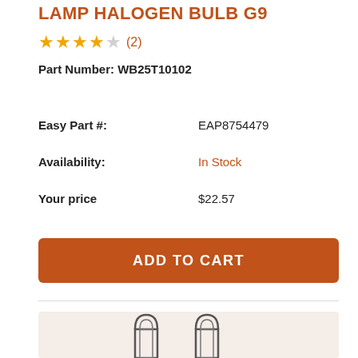LAMP HALOGEN BULB G9
★★★★☆ (2)
Part Number: WB25T10102
Easy Part #:   EAP8754479
Availability:   In Stock
Your price   $22.57
ADD TO CART
[Figure (photo): Two halogen bulb G9 filament structures with rounded tops, photographed on a light pinkish-beige background.]